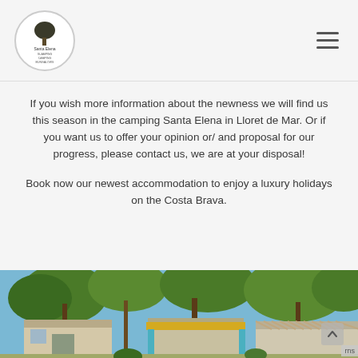Santa Elena camping logo and navigation
If you wish more information about the newness we will find us this season in the camping Santa Elena in Lloret de Mar. Or if you want us to offer your opinion or/ and proposal for our progress, please contact us, we are at your disposal!
Book now our newest accommodation to enjoy a luxury holidays on the Costa Brava.
[Figure (photo): Exterior photo of mobile home / camping accommodation units surrounded by pine trees under blue sky at Camping Santa Elena, Costa Brava]